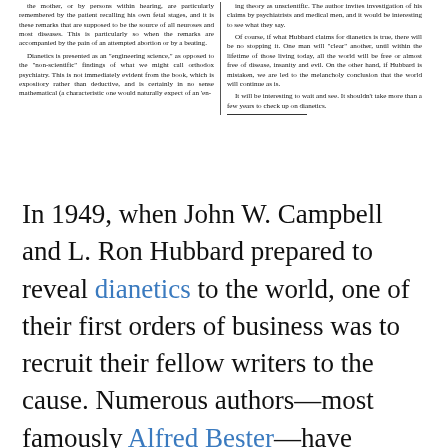[Figure (screenshot): Clipping of a two-column newspaper or journal article discussing Dianetics, with text about engineering science, orthodox psychiatry, and commentary about Hubbard's claims and the potential future of Dianetics.]
In 1949, when John W. Campbell and L. Ron Hubbard prepared to reveal dianetics to the world, one of their first orders of business was to recruit their fellow writers to the cause. Numerous authors—most famously Alfred Bester—have provided accounts of their efforts, and occasionally, they worked, most notably in the cases of Theodore Sturgeon and A.E. van Vogt. Another obvious prize was Isaac Asimov, with whom Campbell had perhaps the closest working relationship of any author of the time, although Asimov was arguably the writer least inclined to